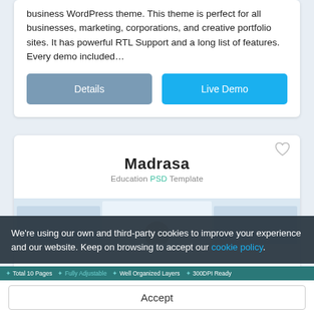business WordPress theme. This theme is perfect for all businesses, marketing, corporations, and creative portfolio sites. It has powerful RTL Support and a long list of features. Every demo included…
Details
Live Demo
[Figure (screenshot): Madrasa Education PSD Template product card with heart icon, bold title 'Madrasa', subtitle 'Education PSD Template', and a partial website screenshot strip below]
We're using our own and third-party cookies to improve your experience and our website. Keep on browsing to accept our cookie policy.
✦ Total 10 Pages  ✦ Fully Adjustable  ✦ Well Organized Layers  ✦ 300DPI Ready
Accept